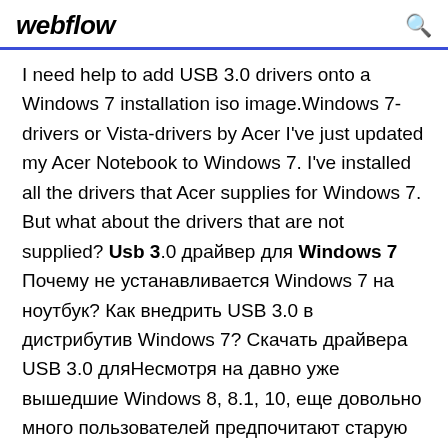webflow
I need help to add USB 3.0 drivers onto a Windows 7 installation iso image.Windows 7-drivers or Vista-drivers by Acer I've just updated my Acer Notebook to Windows 7. I've installed all the drivers that Acer supplies for Windows 7. But what about the drivers that are not supplied? Usb 3.0 драйвер для Windows 7 Почему не устанавливается Windows 7 на ноутбук? Как внедрить USB 3.0 в дистрибутив Windows 7? Скачать драйвера USB 3.0 дляНесмотря на давно уже вышедшие Windows 8, 8.1, 10, еще довольно много пользователей предпочитают старую добрую «семёрку». USB 3.0 Driver Download and Update for Windows 7... If you have the Windows 7 USB 3.0 driver